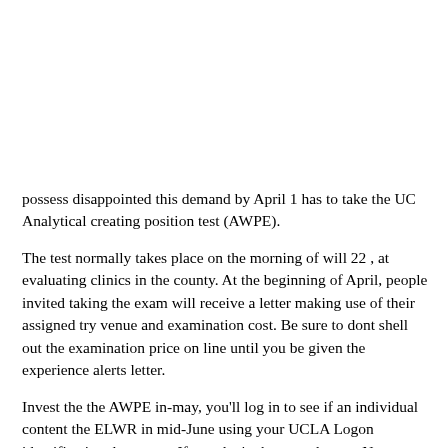possess disappointed this demand by April 1 has to take the UC Analytical creating position test (AWPE).
The test normally takes place on the morning of will 22 , at evaluating clinics in the county. At the beginning of April, people invited taking the exam will receive a letter making use of their assigned try venue and examination cost. Be sure to dont shell out the examination price on line until you be given the experience alerts letter.
Invest the the AWPE in-may, you'll log in to see if an individual content the ELWR in mid-June using your UCLA Logon identification document. If you don't, the consultant at New beginner alignment will help you.